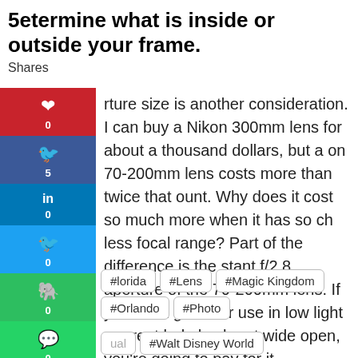5 determine what is inside or outside your frame.
Shares
rture size is another consideration. I can buy a Nikon 300mm lens for about a thousand dollars, but a on 70-200mm lens costs more than twice that ount. Why does it cost so much more when it has so ch less focal range? Part of the difference is the stant f/2.8 aperture of the 70-200mm lens. If you t fast glass for use in low light or great bokeh when t wide open, you’re going to pay for it.
#lorida
#Lens
#Magic Kingdom
#Orlando
#Photo
#Walt Disney World